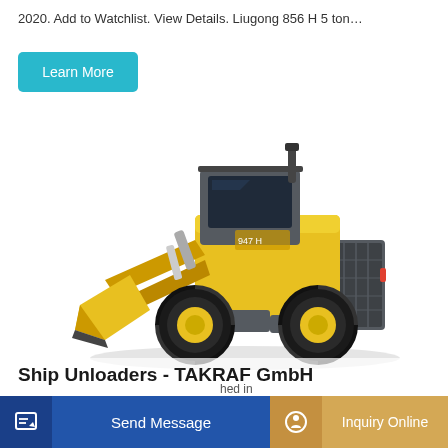2020. Add to Watchlist. View Details. Liugong 856 H 5 ton…
Learn More
[Figure (photo): Yellow Liugong 856H wheel loader / front-end loader with black cab, yellow bucket raised at front, large black tires with yellow rims, dark grey counterweight at rear. The machine is shown in a side-angle view on a white background.]
Ship Unloaders - TAKRAF GmbH
Send Message
Inquiry Online